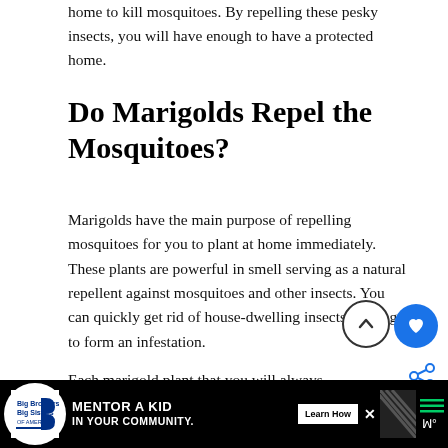home to kill mosquitoes. By repelling these pesky insects, you will have enough to have a protected home.
Do Marigolds Repel the Mosquitoes?
Marigolds have the main purpose of repelling mosquitoes for you to plant at home immediately. These plants are powerful in smell serving as a natural repellent against mosquitoes and other insects. You can quickly get rid of house-dwelling insects seeking to form an infestation.
Each marigold plant that you will always have the purpose of serving as a shield against insects. You can
[Figure (screenshot): Advertisement bar at bottom: Big Brothers Big Sisters logo, 'MENTOR A KID IN YOUR COMMUNITY.' text, Learn How button, diagonal stripes graphic, close button, and app icons]